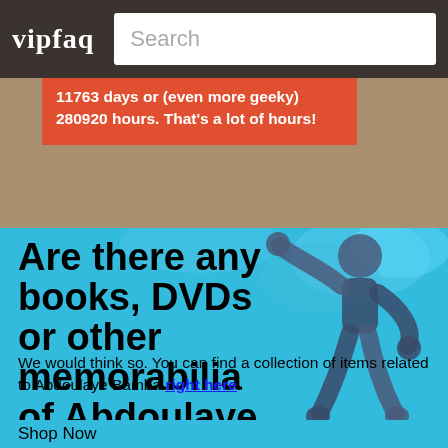vipfaq | Search
11763 days or (even more geeky) 280920 hours. That's a lot of hours!
Are there any books, DVDs or other memorabilia of Abdoulaye Bamba? Is there a Abdoulaye Bamba action figure?
We would think so. You can find a collection of items related to Abdoulaye Bamba right here.
Shop Now
[Figure (illustration): Cartoon action figure illustration in dark blue/grey tones on cyan background with cloud shapes]